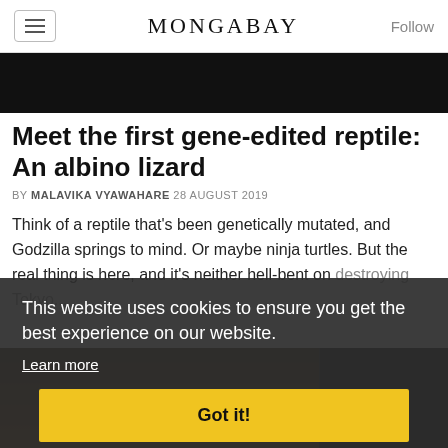MONGABAY | Follow
[Figure (photo): Dark hero image at top of article]
Meet the first gene-edited reptile: An albino lizard
BY MALAVIKA VYAWAHARE 28 AUGUST 2019
Think of a reptile that's been genetically mutated, and Godzilla springs to mind. Or maybe ninja turtles. But the real thing is here, and it's neither hell-bent on destroying Tokyo...
This website uses cookies to ensure you get the best experience on our website. Learn more Got it!
[Figure (photo): Bottom image showing a lizard or reptile, partially visible]